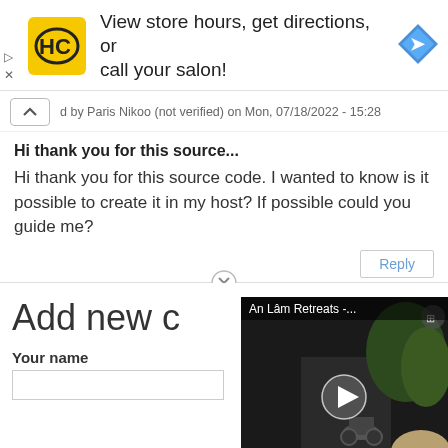[Figure (infographic): Ad banner for HC Hair salon with yellow logo, text 'View store hours, get directions, or call your salon!' and blue navigation diamond icon. Controls show play and close icons at left.]
d by Paris Nikoo (not verified) on Mon, 07/18/2022 - 15:28
Hi thank you for this source...
Hi thank you for this source code. I wanted to know is it possible to create it in my host? If possible could you guide me?
Reply
Add new c
Your name
[Figure (screenshot): Video thumbnail overlay showing 'An Lâm Retreats -...' title with dark scene of a path, motorcycle, and play button in center. Small icon at top right.]